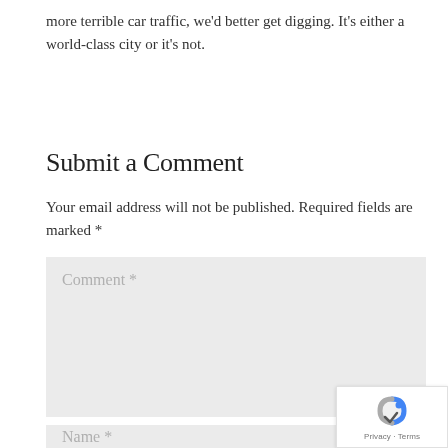more terrible car traffic, we'd better get digging. It's either a world-class city or it's not.
Submit a Comment
Your email address will not be published. Required fields are marked *
[Figure (screenshot): Comment text area input field with placeholder text 'Comment *']
[Figure (screenshot): Name input field with placeholder text 'Name *']
[Figure (logo): reCAPTCHA badge with Privacy and Terms links]